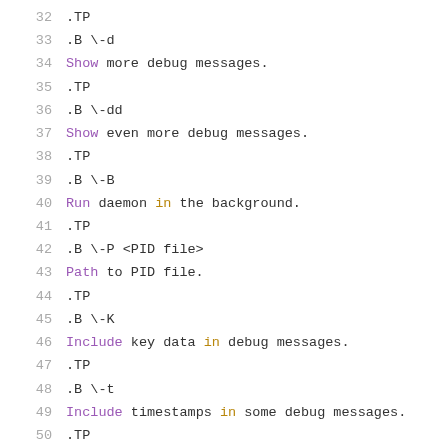32  .TP
33  .B \-d
34  Show more debug messages.
35  .TP
36  .B \-dd
37  Show even more debug messages.
38  .TP
39  .B \-B
40  Run daemon in the background.
41  .TP
42  .B \-P <PID file>
43  Path to PID file.
44  .TP
45  .B \-K
46  Include key data in debug messages.
47  .TP
48  .B \-t
49  Include timestamps in some debug messages.
50  .TP
51  .B \-v
52  Show hostapd version.